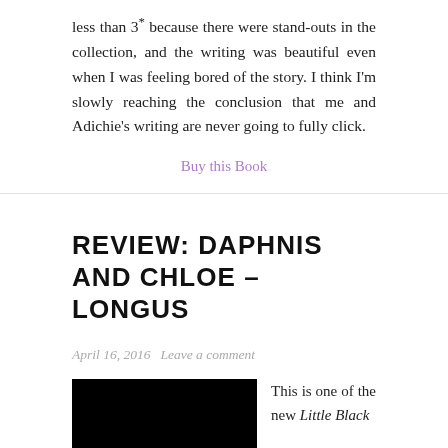less than 3* because there were stand-outs in the collection, and the writing was beautiful even when I was feeling bored of the story. I think I'm slowly reaching the conclusion that me and Adichie's writing are never going to fully click.
Buy this Book
REVIEW: DAPHNIS AND CHLOE – LONGUS
April 16, 2016   Leave a comment
[Figure (photo): Black book cover image]
This is one of the new Little Black